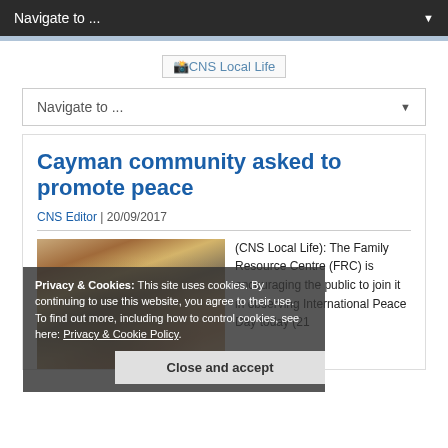Navigate to ...
[Figure (logo): CNS Local Life logo placeholder]
Navigate to ...
Cayman community asked to promote peace
CNS Editor | 20/09/2017
[Figure (photo): Crowd of children celebrating, waving hands]
(CNS Local Life): The Family Resource Centre (FRC) is encouraging the public to join it in observing International Peace Day today (21
Privacy & Cookies: This site uses cookies. By continuing to use this website, you agree to their use. To find out more, including how to control cookies, see here: Privacy & Cookie Policy.
Close and accept